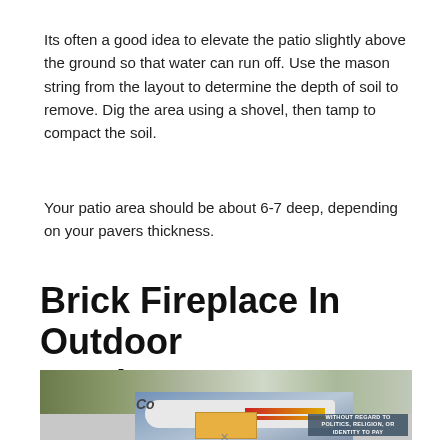Its often a good idea to elevate the patio slightly above the ground so that water can run off. Use the mason string from the layout to determine the depth of soil to remove. Dig the area using a shovel, then tamp to compact the soil.
Your patio area should be about 6-7 deep, depending on your pavers thickness.
Brick Fireplace In Outdoor Seating Area
[Figure (photo): Advertisement banner showing an airplane being loaded with cargo, with a dark overlay box in the bottom right reading 'WITHOUT REGARD TO POLITICS, RELIGION, OR IDENTITY TO PAY']